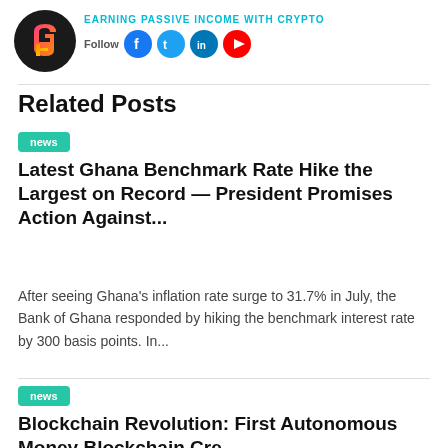[Figure (logo): Circular black logo with colorful G and F letters in pink/orange/yellow gradient]
Earning Passive Income With Crypto
Related Posts
news
Latest Ghana Benchmark Rate Hike the Largest on Record — President Promises Action Against...
After seeing Ghana's inflation rate surge to 31.7% in July, the Bank of Ghana responded by hiking the benchmark interest rate by 300 basis points. In...
news
Blockchain Revolution: First Autonomous Money Blockchain Created